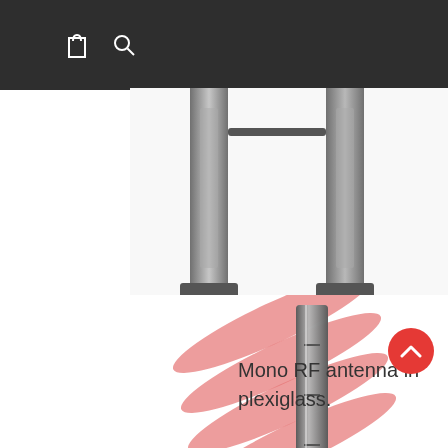[Figure (photo): Security gate / EAS pedestals shown from side angle, metallic frame with cross-bar, on square feet, partial crop at top right of page]
[Figure (photo): Mono RF antenna in plexiglass with red diagonal beam/wave illustration overlaid, single panel antenna with base, red arc underline graphic]
Mono RF antenna in plexiglass.